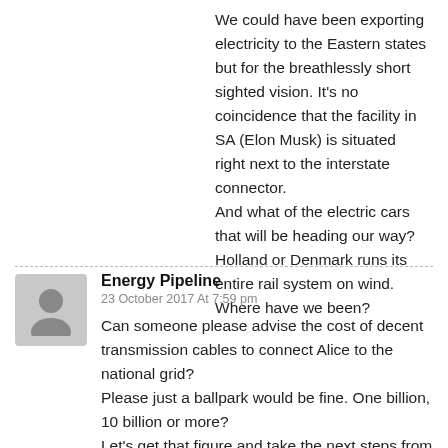We could have been exporting electricity to the Eastern states but for the breathlessly short sighted vision. It's no coincidence that the facility in SA (Elon Musk) is situated right next to the interstate connector.
And what of the electric cars that will be heading our way? Holland or Denmark runs its entire rail system on wind. Where have we been?
Energy Pipeline
23 October 2017 At 7:59 pm
Can someone please advise the cost of decent transmission cables to connect Alice to the national grid?
Please just a ballpark would be fine. One billion, 10 billion or more?
Let's get that figure and take the next steps from